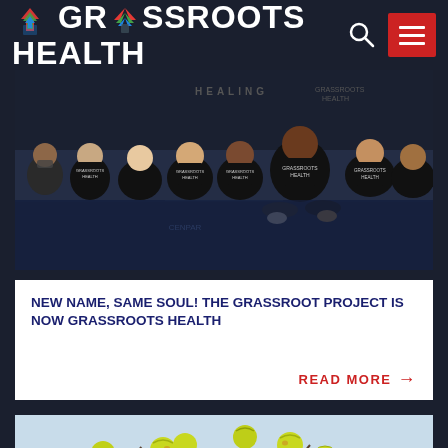GRASSROOTS HEALTH
[Figure (photo): Group of young people wearing Grassroots Health black t-shirts sitting on a gym floor, smiling at camera]
NEW NAME, SAME SOUL!  THE GRASSROOT PROJECT IS NOW GRASSROOTS HEALTH
READ MORE →
[Figure (photo): Person holding multiple yellow-green tennis balls with bare winter tree branches in background, sky visible]